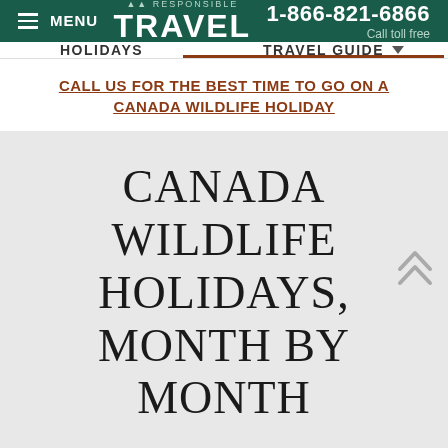MENU | RESPONSIBLE TRAVEL | 1-866-821-6866 Call toll free
HOLIDAYS | TRAVEL GUIDE
CALL US FOR THE BEST TIME TO GO ON A CANADA WILDLIFE HOLIDAY
CANADA WILDLIFE HOLIDAYS, MONTH BY MONTH
Bear watching season begins in May and June. ... their winter dens with
RECENTLY VIEWED